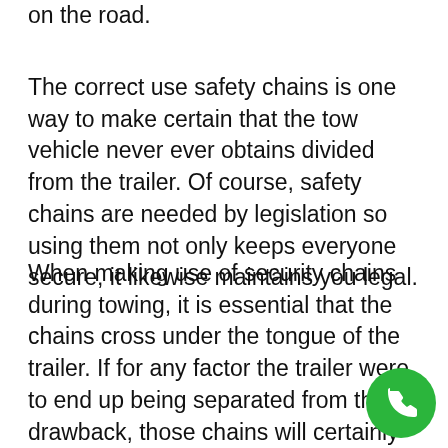on the road.
The correct use safety chains is one way to make certain that the tow vehicle never ever obtains divided from the trailer. Of course, safety chains are needed by legislation so using them not only keeps everyone secure, it likewise maintains you legal.
When making use of security chains during towing, it is essential that the chains cross under the tongue of the trailer. If for any factor the trailer were to end up being separated from the drawback, those chains will certainly avoid the trailer from falling to the ground and away from the tow vehicle.
[Figure (other): Green circular phone/call button icon in bottom-right corner]